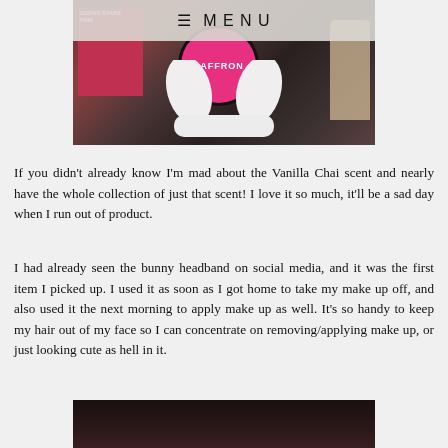≡ MENU
[Figure (photo): Photo showing a white bunny ear headband, a round pink Saffron label, a pink box labeled Seeing Stars Pink, and other beauty products on a dark surface.]
If you didn't already know I'm mad about the Vanilla Chai scent and nearly have the whole collection of just that scent! I love it so much, it'll be a sad day when I run out of product.
I had already seen the bunny headband on social media, and it was the first item I picked up. I used it as soon as I got home to take my make up off, and also used it the next morning to apply make up as well. It's so handy to keep my hair out of my face so I can concentrate on removing/applying make up, or just looking cute as hell in it.
[Figure (photo): Partial bottom photo, dark image partially visible.]